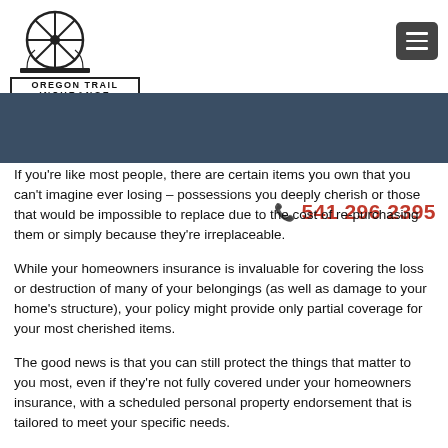[Figure (logo): Oregon Trail Insurance logo with wagon wheel graphic and company name text]
[Figure (other): Dark gray hamburger menu button in top right corner]
541 296 2395
If you're like most people, there are certain items you own that you can't imagine ever losing – possessions you deeply cherish or those that would be impossible to replace due to the cost of re-purchasing them or simply because they're irreplaceable.
While your homeowners insurance is invaluable for covering the loss or destruction of many of your belongings (as well as damage to your home's structure), your policy might provide only partial coverage for your most cherished items.
The good news is that you can still protect the things that matter to you most, even if they're not fully covered under your homeowners insurance, with a scheduled personal property endorsement that is tailored to meet your specific needs.